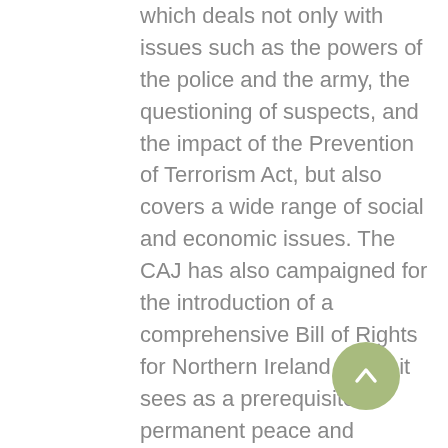which deals not only with issues such as the powers of the police and the army, the questioning of suspects, and the impact of the Prevention of Terrorism Act, but also covers a wide range of social and economic issues. The CAJ has also campaigned for the introduction of a comprehensive Bill of Rights for Northern Ireland which it sees as a prerequisite to permanent peace and justice.
After the talk a lively discussion was held and questions were asked on a wide variety of issues including the question of human rights abuses by paramilitaries. The speaker explained that while the CAJ's remit does not extend to this issue, it is now being